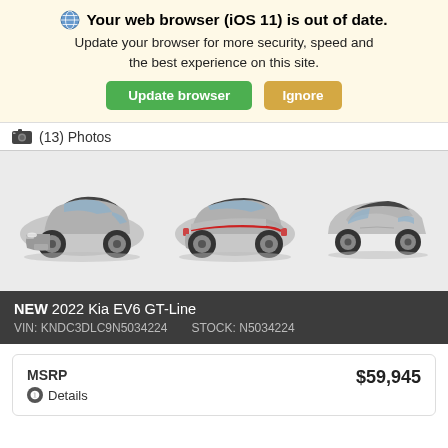🌐 Your web browser (iOS 11) is out of date. Update your browser for more security, speed and the best experience on this site. Update browser  Ignore
(13) Photos
[Figure (photo): Three views of a 2022 Kia EV6 GT-Line in gray: front 3/4 view, rear 3/4 view, and side profile view]
NEW 2022 Kia EV6 GT-Line
VIN: KNDC3DLC9N5034224    STOCK: N5034224
|  |  |
| --- | --- |
| MSRP
❶ Details | $59,945 |